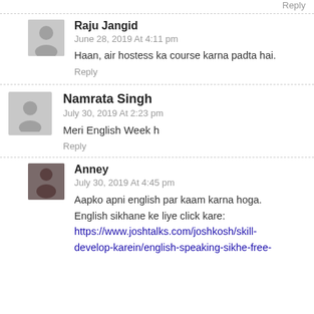Reply
Raju Jangid
June 28, 2019 At 4:11 pm
Haan, air hostess ka course karna padta hai.
Reply
Namrata Singh
July 30, 2019 At 2:23 pm
Meri English Week h
Reply
Anney
July 30, 2019 At 4:45 pm
Aapko apni english par kaam karna hoga. English sikhane ke liye click kare: https://www.joshtalks.com/joshkosh/skill-develop-karein/english-speaking-sikhe-free-